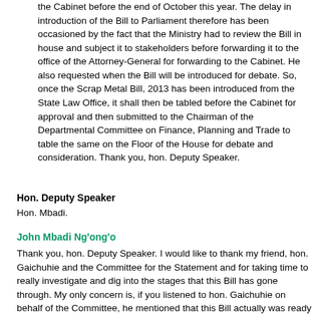the Cabinet before the end of October this year. The delay in introduction of the Bill to Parliament therefore has been occasioned by the fact that the Ministry had to review the Bill in house and subject it to stakeholders before forwarding it to the office of the Attorney-General for forwarding to the Cabinet. He also requested when the Bill will be introduced for debate. So, once the Scrap Metal Bill, 2013 has been introduced from the State Law Office, it shall then be tabled before the Cabinet for approval and then submitted to the Chairman of the Departmental Committee on Finance, Planning and Trade to table the same on the Floor of the House for debate and consideration. Thank you, hon. Deputy Speaker.
Hon. Deputy Speaker
Hon. Mbadi.
John Mbadi Ng'ong'o
Thank you, hon. Deputy Speaker. I would like to thank my friend, hon. Gaichuhie and the Committee for the Statement and for taking time to really investigate and dig into the stages that this Bill has gone through. My only concern is, if you listened to hon. Gaichuhie on behalf of the Committee, he mentioned that this Bill actually was ready at one point and it is like the process started again. It is a little bit worrying that this Bill was ready without the